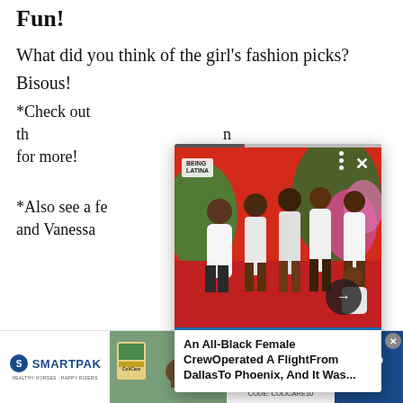Fun!
What did you think of the girl's fashion picks?
Bisous!
*Check out th[e...] for more!
*Also see a fe[w...] a and Vanessa [...]
[Figure (screenshot): Popup card showing an image of Black women in white outfits standing against a colorful mural wall, with a caption: 'An All-Black Female CrewOperated A FlightFrom DallasTo Phoenix, And It Was...' and navigation arrow and close button.]
[Figure (infographic): SmartPak advertisement banner at bottom showing horse supplement promotion: 50% Off Two Months of ColiCare, ColiCare Eligible Supplements, CODE: COLICARE10, with Shop Now button.]